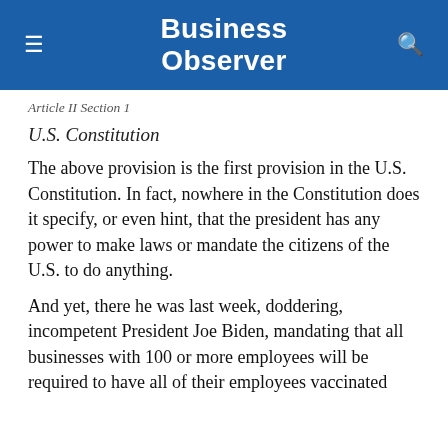Business Observer
Article II Section 1
U.S. Constitution
The above provision is the first provision in the U.S. Constitution. In fact, nowhere in the Constitution does it specify, or even hint, that the president has any power to make laws or mandate the citizens of the U.S. to do anything.
And yet, there he was last week, doddering, incompetent President Joe Biden, mandating that all businesses with 100 or more employees will be required to have all of their employees vaccinated